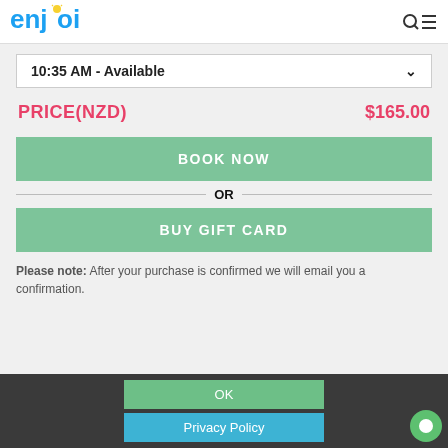enjoi
10:35 AM - Available
PRICE(NZD) $165.00
BOOK NOW
OR
BUY GIFT CARD
Please note: After your purchase is confirmed we will email you a confirmation.
OK
Privacy Policy